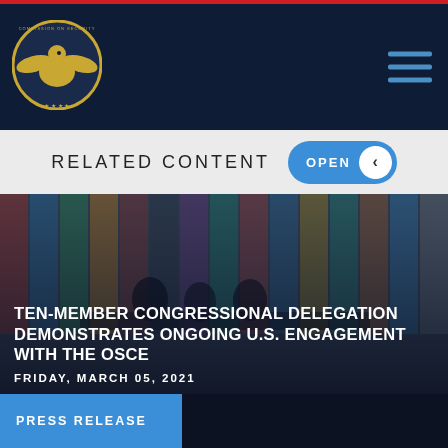Commission on Security and Cooperation in Europe
RELATED CONTENT
[Figure (screenshot): Congressional delegation meeting room with flags in background, people seated at tables]
TEN-MEMBER CONGRESSIONAL DELEGATION DEMONSTRATES ONGOING U.S. ENGAGEMENT WITH THE OSCE
FRIDAY, MARCH 05, 2021
PRESS RELEASE